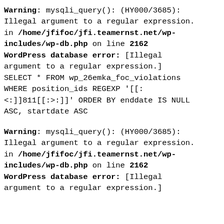Warning: mysqli_query(): (HY000/3685): Illegal argument to a regular expression. in /home/jfifoc/jfi.teamernst.net/wp-includes/wp-db.php on line 2162 WordPress database error: [Illegal argument to a regular expression.] SELECT * FROM wp_26emka_foc_violations WHERE position_ids REGEXP '[[:<:]]811[[:>:]]' ORDER BY enddate IS NULL ASC, startdate ASC
Warning: mysqli_query(): (HY000/3685): Illegal argument to a regular expression. in /home/jfifoc/jfi.teamernst.net/wp-includes/wp-db.php on line 2162 WordPress database error: [Illegal argument to a regular expression.]